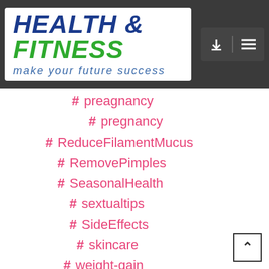[Figure (logo): Health & FITNESS logo with tagline 'make your future success']
# preagnancy
# pregnancy
# ReduceFilamentMucus
# RemovePimples
# SeasonalHealth
# sextualtips
# SideEffects
# skincare
# weight-gain
# weight-loss
# weightgain
# WeightLoss
# women
# yoga